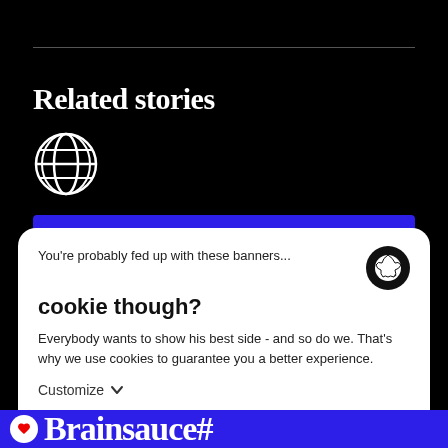Related stories
[Figure (illustration): Globe/earth grid icon in white outline on black background]
You're probably fed up with these banners...
cookie though?
Everybody wants to show his best side - and so do we. That's why we use cookies to guarantee you a better experience.
Customize ∨
Decline  Accept all
Brainsauce#